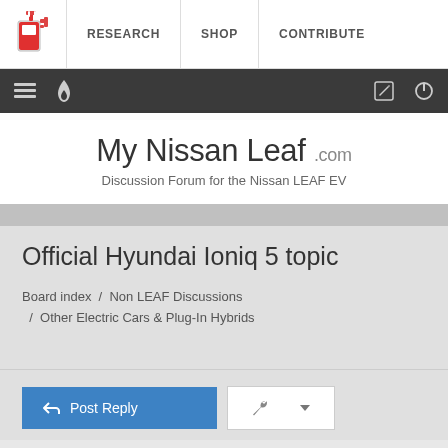[Figure (logo): Fuel pump icon in red/orange and a gas station nozzle, site logo]
RESEARCH | SHOP | CONTRIBUTE
Navigation bar with menu, flame icon, edit icon, power icon
My Nissan Leaf .com
Discussion Forum for the Nissan LEAF EV
Official Hyundai Ioniq 5 topic
Board index / Non LEAF Discussions / Other Electric Cars & Plug-In Hybrids
Post Reply